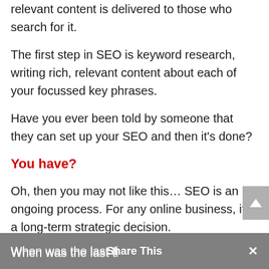relevant content is delivered to those who search for it.
The first step in SEO is keyword research, writing rich, relevant content about each of your focussed key phrases.
Have you ever been told by someone that they can set up your SEO and then it's done?
You have?
Oh, then you may not like this… SEO is an ongoing process. For any online business, it is a long-term strategic decision.
When was the last time that you searched your